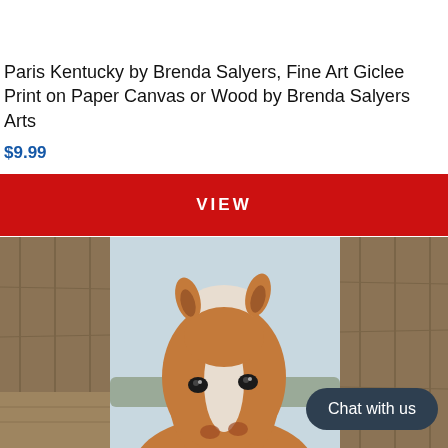Paris Kentucky by Brenda Salyers, Fine Art Giclee Print on Paper Canvas or Wood by Brenda Salyers Arts
$9.99
VIEW
[Figure (photo): A brown and white paint horse looking directly at the camera through wooden barn boards, with a light blue sky and bare trees visible in the background.]
Chat with us